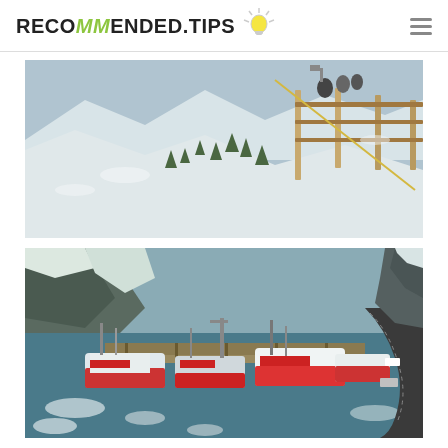RECOMMENDED.TIPS
[Figure (photo): Aerial winter view from a hillside observation deck with wooden railing, overlooking a frozen river winding through a snow-covered valley with evergreen trees, shot from a high vantage point.]
[Figure (photo): Aerial view of a harbor with fishing boats and vessels docked at a pier, surrounded by icy water with ice floes, steep rocky hillsides on left, and a winding road along the right shoreline.]